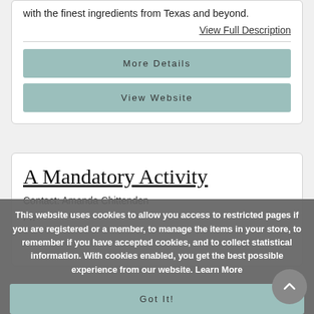with the finest ingredients from Texas and beyond.
View Full Description
More Details
View Website
A Mandatory Activity
Contact: Amanda Chittenden
Ph
This website uses cookies to allow you access to restricted pages if you are registered or a member, to manage the items in your store, to remember if you have accepted cookies, and to collect statistical information. With cookies enabled, you get the best possible experience from our website. Learn More
Got It!